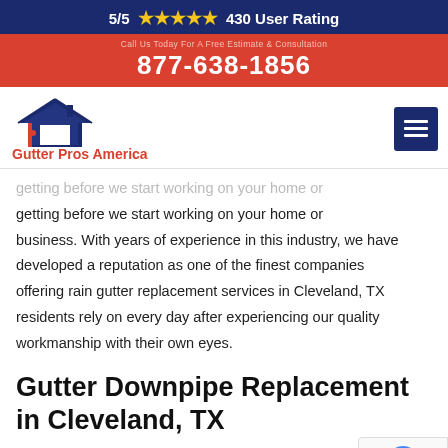5/5 ★★★★★ 430 User Rating
877-638-1856
[Figure (logo): Gutter Pros America logo with house icon and red text]
getting before we start working on your home or business. With years of experience in this industry, we have developed a reputation as one of the finest companies offering rain gutter replacement services in Cleveland, TX residents rely on every day after experiencing our quality workmanship with their own eyes.
Gutter Downpipe Replacement in Cleveland, TX
Downpipes are designed to carry rainwater from your roof and